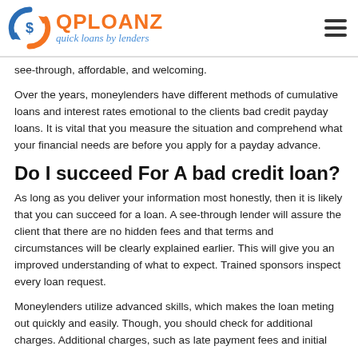QPLOANZ quick loans by lenders
see-through, affordable, and welcoming.
Over the years, moneylenders have different methods of cumulative loans and interest rates emotional to the clients bad credit payday loans. It is vital that you measure the situation and comprehend what your financial needs are before you apply for a payday advance.
Do I succeed For A bad credit loan?
As long as you deliver your information most honestly, then it is likely that you can succeed for a loan. A see-through lender will assure the client that there are no hidden fees and that terms and circumstances will be clearly explained earlier. This will give you an improved understanding of what to expect. Trained sponsors inspect every loan request.
Moneylenders utilize advanced skills, which makes the loan meting out quickly and easily. Though, you should check for additional charges. Additional charges, such as late payment fees and initial